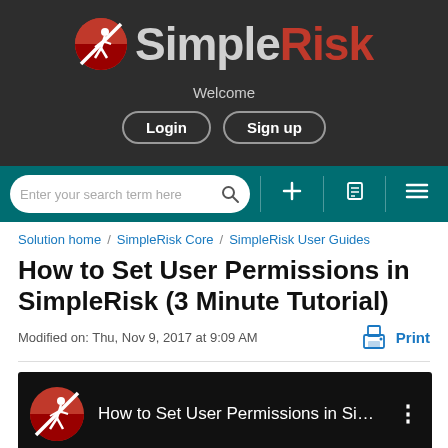[Figure (logo): SimpleRisk logo with red circle icon and text 'SimpleRisk' in gray and red]
Welcome
Login   Sign up
Enter your search term here
Solution home / SimpleRisk Core / SimpleRisk User Guides
How to Set User Permissions in SimpleRisk (3 Minute Tutorial)
Modified on: Thu, Nov 9, 2017 at 9:09 AM
[Figure (screenshot): Video thumbnail showing SimpleRisk logo and title 'How to Set User Permissions in Sim...' on black background]